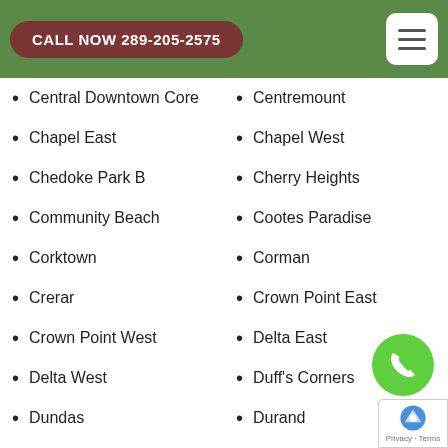CALL NOW 289-205-2575
Central Downtown Core
Centremount
Chapel East
Chapel West
Chedoke Park B
Cherry Heights
Community Beach
Cootes Paradise
Corktown
Corman
Crerar
Crown Point East
Crown Point West
Delta East
Delta West
Duff's Corners
Dundas
Durand
Eastmount
Eleanor
Elfrida
Escarpment
Falkirk East
Falkirk West
Fessenden
Flamborough
Gibson
Gilbert
Gilkson
Glenview East